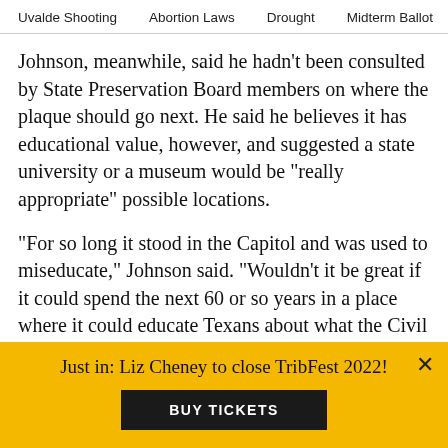Uvalde Shooting    Abortion Laws    Drought    Midterm Ballot
Johnson, meanwhile, said he hadn't been consulted by State Preservation Board members on where the plaque should go next. He said he believes it has educational value, however, and suggested a state university or a museum would be “really appropriate” possible locations.
“For so long it stood in the Capitol and was used to miseducate,” Johnson said. “Wouldn’t it be great if it could spend the next 60 or so years in a place where it could educate Texans about what the Civil War was about — and what this period after the Civil War was about?”
Just in: Liz Cheney to close TribFest 2022!